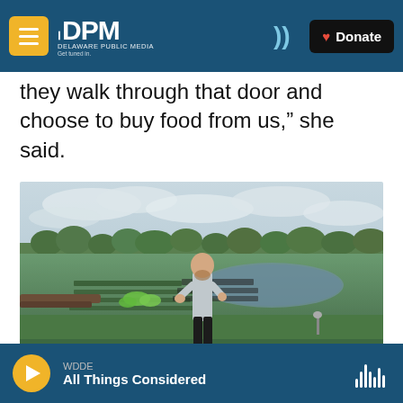DPM Delaware Public Media — Get tuned in. | Donate
they walk through that door and choose to buy food from us,” she said.
[Figure (photo): A man walking through farm fields with crop rows and a pond visible in the background, overcast sky with trees lining the far edge of the field.]
WDDE | All Things Considered